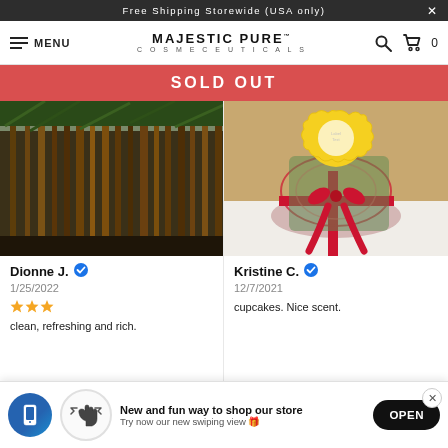Free Shipping Storewide (USA only)
MAJESTIC PURE COSMECEUTICALS — MENU
SOLD OUT
[Figure (photo): Outdoor photo of tall brown dried grass/reeds with a white car and red building in background]
Dionne J. ✓
1/25/2022
[Figure (photo): Gift basket with red ribbons, decorative beads, and a yellow scalloped tag on a white table]
Kristine C. ✓
12/7/2021
clean, refreshing and rich.
cupcakes. Nice scent.
New and fun way to shop our store
Try now our new swiping view 🎁
OPEN